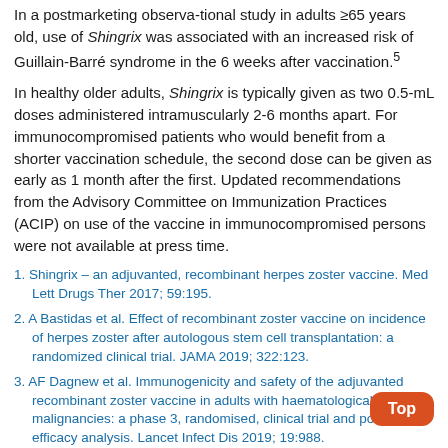In a postmarketing observa-tional study in adults ≥65 years old, use of Shingrix was associated with an increased risk of Guillain-Barré syndrome in the 6 weeks after vaccination.⁵
In healthy older adults, Shingrix is typically given as two 0.5-mL doses administered intramuscularly 2-6 months apart. For immunocompromised patients who would benefit from a shorter vaccination schedule, the second dose can be given as early as 1 month after the first. Updated recommendations from the Advisory Committee on Immunization Practices (ACIP) on use of the vaccine in immunocompromised persons were not available at press time.
1. Shingrix – an adjuvanted, recombinant herpes zoster vaccine. Med Lett Drugs Ther 2017; 59:195.
2. A Bastidas et al. Effect of recombinant zoster vaccine on incidence of herpes zoster after autologous stem cell transplantation: a randomized clinical trial. JAMA 2019; 322:123.
3. AF Dagnew et al. Immunogenicity and safety of the adjuvanted recombinant zoster vaccine in adults with haematological malignancies: a phase 3, randomised, clinical trial and post-hoc efficacy analysis. Lancet Infect Dis 2019; 19:988.